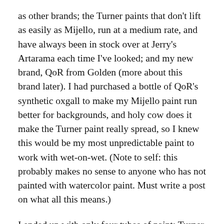as other brands; the Turner paints that don't lift as easily as Mijello, run at a medium rate, and have always been in stock over at Jerry's Artarama each time I've looked; and my new brand, QoR from Golden (more about this brand later). I had purchased a bottle of QoR's synthetic oxgall to make my Mijello paint run better for backgrounds, and holy cow does it make the Turner paint really spread, so I knew this would be my most unpredictable paint to work with wet-on-wet. (Note to self: this probably makes no sense to anyone who has not painted with watercolor paint. Must write a post on what all this means.)
I ended up with only four tubes of paint: Turner ultramarine blue for the background (because daisies need either a green or a blue background), Turner permanent yellow and transparent yellow oxide for the